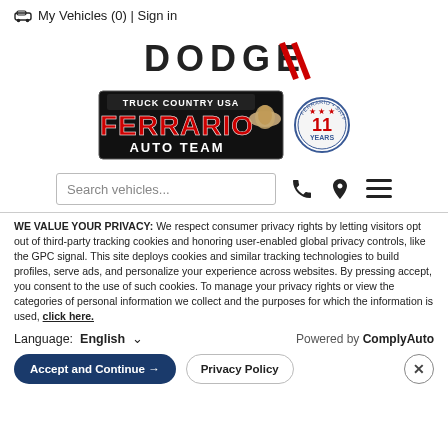🚗 My Vehicles (0) | Sign in
[Figure (logo): Dodge brand logo with red double-slash mark]
[Figure (logo): Ferrario Auto Team - Truck Country USA logo with cowboy hat and 11 Years badge]
Search vehicles...
WE VALUE YOUR PRIVACY: We respect consumer privacy rights by letting visitors opt out of third-party tracking cookies and honoring user-enabled global privacy controls, like the GPC signal. This site deploys cookies and similar tracking technologies to build profiles, serve ads, and personalize your experience across websites. By pressing accept, you consent to the use of such cookies. To manage your privacy rights or view the categories of personal information we collect and the purposes for which the information is used, click here.
Language: English  Powered by ComplyAuto
Accept and Continue →  Privacy Policy  ×